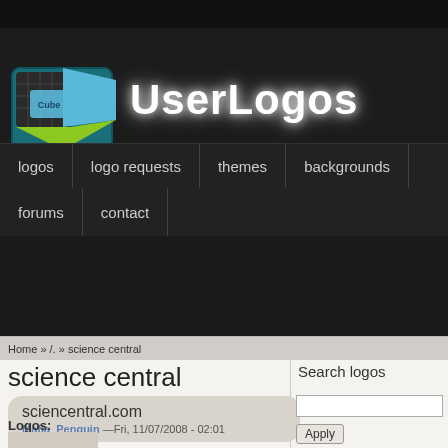[Figure (logo): UserLogos website header with cube logo icon and 'UserLogos' text in white glowing font on dark background]
logos | logo requests | themes | backgrounds | forums | contact
Home » /. » science central
science central
sciencentral.com
Mafia_Penguin —Fri, 11/07/2008 - 02:01
Search logos
Logos: